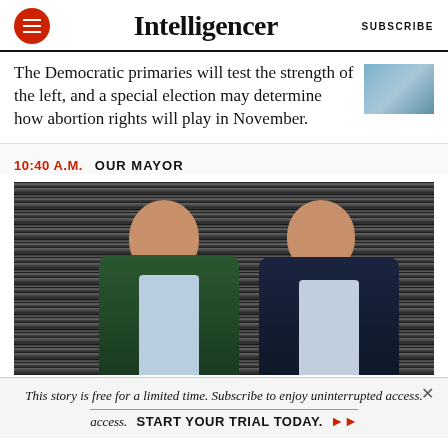Intelligencer  SUBSCRIBE
The Democratic primaries will test the strength of the left, and a special election may determine how abortion rights will play in November.
10:40 A.M.  OUR MAYOR
[Figure (photo): Two men in suits posing together against a striped/dark background]
This story is free for a limited time. Subscribe to enjoy uninterrupted access.  START YOUR TRIAL TODAY.